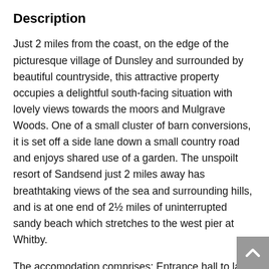Description
Just 2 miles from the coast, on the edge of the picturesque village of Dunsley and surrounded by beautiful countryside, this attractive property occupies a delightful south-facing situation with lovely views towards the moors and Mulgrave Woods. One of a small cluster of barn conversions, it is set off a side lane down a small country road and enjoys shared use of a garden. The unspoilt resort of Sandsend just 2 miles away has breathtaking views of the sea and surrounding hills, and is at one end of 2½ miles of uninterrupted sandy beach which stretches to the west pier at Whitby.
The accomodation comprises: Entrance hall to large living room with open fire, modern fitted kitchen with dining area, iner hall to bathroom with WC, double bedroom, twin bedroom. A cot and high chair are available. Coin operated laundry room with large washing machine and tumble dryer.